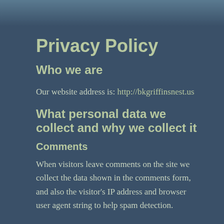[Figure (photo): Dark teal/blue-grey header image area with blurred background]
Privacy Policy
Who we are
Our website address is: http://bkgriffinsnest.us
What personal data we collect and why we collect it
Comments
When visitors leave comments on the site we collect the data shown in the comments form, and also the visitor's IP address and browser user agent string to help spam detection.